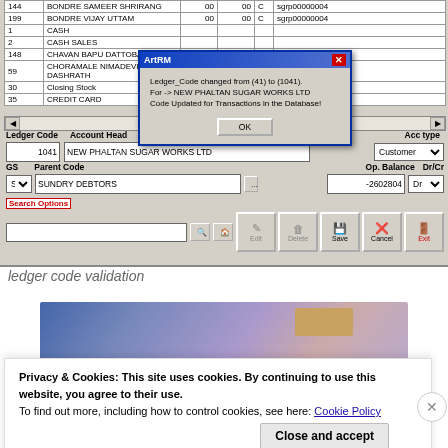[Figure (screenshot): Windows application screenshot showing a ledger/account management form with a grid listing accounts (BONDRE SAMEER SHRIRANG, BONDRE VIJAY UTTAM, CASH, CASH SALES, CHAVAN BAPU DATTOBA, CHORAMALE NIMADEVI DASHRATH, Closing Stock, CREDIT CARD), form fields for Ledger Code (1041), Account Head (NEW PHALTAN SUGAR WORKS LTD), GS (S), Parent Code (SUNDRY DEBTORS), Op. Balance (-2602804), Dr/Cr (Dr), and a modal dialog box titled 'ArtRM' stating 'Ledger_Code changed from (41) to (1041). For -> NEW PHALTAN SUGAR WORKS LTD Code Updated for Transactions in the Database!' with an OK button. Bottom has Search Options bar and toolbar buttons (Edit, Delete, Save, Cancel, Exit).]
ledger code validation
[Figure (screenshot): Partial screenshot showing a gradient background image (blue-purple-tan color gradient).]
Privacy & Cookies: This site uses cookies. By continuing to use this website, you agree to their use. To find out more, including how to control cookies, see here: Cookie Policy